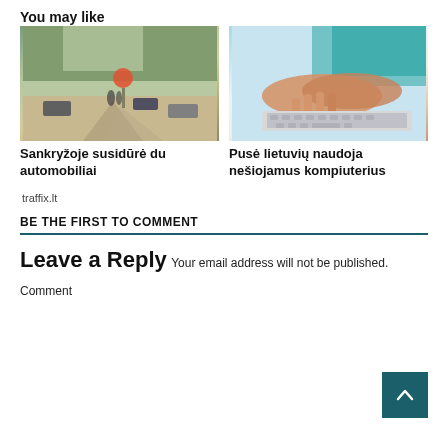You may like
[Figure (photo): Road intersection with cars and a stop sign, trees in background]
Sankryžoje susidūrė du automobiliai
[Figure (photo): Person typing on laptop keyboard, wearing teal top]
Pusė lietuvių naudoja nešiojamus kompiuterius
traffix.lt
BE THE FIRST TO COMMENT
Leave a Reply
Your email address will not be published.
Comment